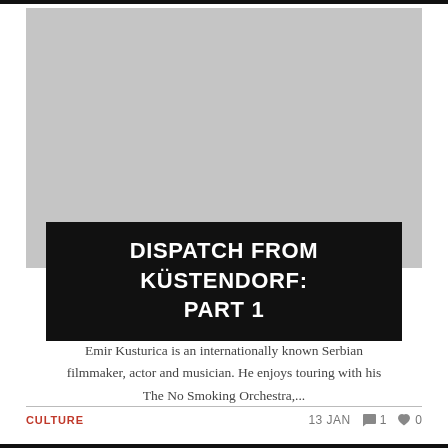[Figure (photo): Placeholder light grey image rectangle above article title]
DISPATCH FROM KÜSTENDORF: PART 1
Emir Kusturica is an internationally known Serbian filmmaker, actor and musician. He enjoys touring with his The No Smoking Orchestra,...
CULTURE   13 JAN   1   0